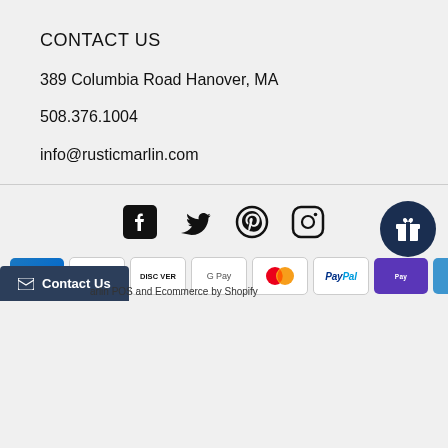CONTACT US
389 Columbia Road Hanover, MA
508.376.1004
info@rusticmarlin.com
[Figure (infographic): Social media icons: Facebook, Twitter, Pinterest, Instagram]
[Figure (infographic): Payment method badges: American Express, Apple Pay, Discover, Google Pay, Mastercard, PayPal, Shop Pay, Venmo]
Marlin POS and Ecommerce by Shopify